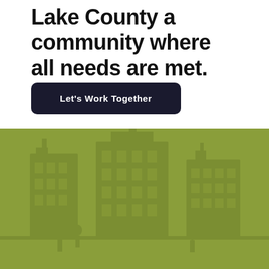Lake County a community where all needs are met.
Let's Work Together
[Figure (photo): Olive green background with faint watermark-style image of community or government-related scene, muted and overlaid with green tint.]